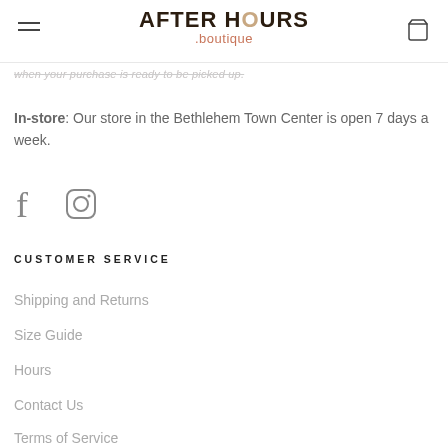AFTER HOURS .boutique
when your purchase is ready to be picked up.
In-store: Our store in the Bethlehem Town Center is open 7 days a week.
[Figure (illustration): Facebook and Instagram social media icons]
CUSTOMER SERVICE
Shipping and Returns
Size Guide
Hours
Contact Us
Terms of Service